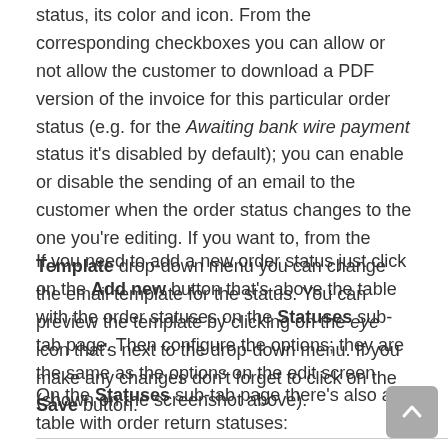status, its color and icon. From the corresponding checkboxes you can allow or not allow the customer to download a PDF version of the invoice for this particular order status (e.g. for the Awaiting bank wire payment status it's disabled by default); you can enable or disable the sending of an email to the customer when the order status changes to the one you're editing. If you want to, from the Template drop-down menu you can change the email template for the status. You can preview the template by clicking on the eye icon that's next to the drop-down menu. If you make any changes don't forget to click on the Save button.
If you need to add a new order status just click on the Add new button that's above the table with the order statuses on the Statuses sub-tab page. Then configure the options; they are the same as the options on the edit screen (shown on the screenshot above).
On the Statuses sub-tab page there's also a table with order return statuses: